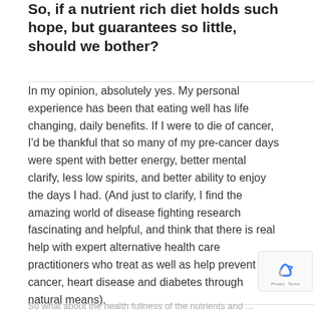So, if a nutrient rich diet holds such hope, but guarantees so little, should we bother?
In my opinion, absolutely yes. My personal experience has been that eating well has life changing, daily benefits. If I were to die of cancer, I'd be thankful that so many of my pre-cancer days were spent with better energy, better mental clarify, less low spirits, and better ability to enjoy the days I had. (And just to clarify, I find the amazing world of disease fighting research fascinating and helpful, and think that there is real help with expert alternative health care practitioners who treat as well as help prevent cancer, heart disease and diabetes through natural means).
So what about the health fullness of the nutrients and ...